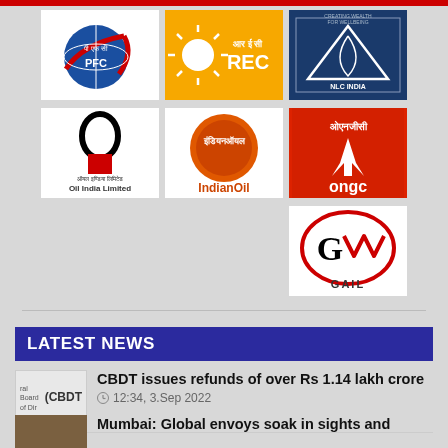[Figure (logo): PFC (Power Finance Corporation) logo - blue globe with red orbit and Hindi text]
[Figure (logo): REC logo - orange/yellow background with sun, Hindi text and REC text]
[Figure (logo): NLC India logo - dark blue square with triangle emblem and 'CREATING WEALTH FOR WELLBEING']
[Figure (logo): Oil India Limited logo - black oval and red block with Hindi and English text]
[Figure (logo): IndianOil logo - orange circle with Hindi text and IndianOil below]
[Figure (logo): ONGC logo - red/orange square with Hindi text and ongc text]
[Figure (logo): GAIL logo - white background with red oval border and G letter with M shape, GAIL text below]
LATEST NEWS
CBDT issues refunds of over Rs 1.14 lakh crore
12:34, 3.Sep 2022
Mumbai: Global envoys soak in sights and